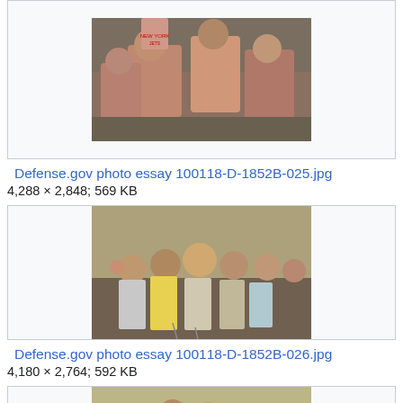[Figure (photo): Group of children and people smiling outdoors, top of image cropped — Defense.gov photo essay 100118-D-1852B-025]
Defense.gov photo essay 100118-D-1852B-025.jpg
4,288 × 2,848; 569 KB
[Figure (photo): Group of children seated outdoors, one in yellow shirt prominent in center — Defense.gov photo essay 100118-D-1852B-026]
Defense.gov photo essay 100118-D-1852B-026.jpg
4,180 × 2,764; 592 KB
[Figure (photo): Another group of children and people outdoors — partial view at bottom of page]